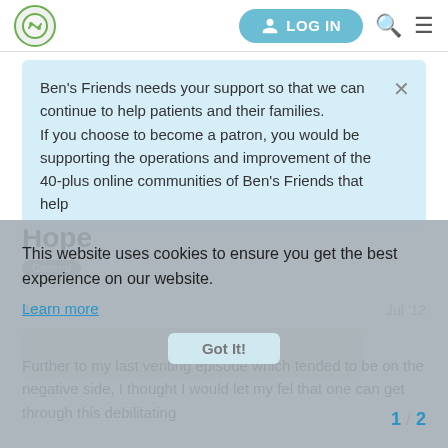LOG IN [navigation header with logo, search, and menu icons]
Ben's Friends needs your support so that we can continue to help patients and their families. If you choose to become a patron, you would be supporting the operations and improvement of the 40-plus online communities of Ben's Friends that help
Hope
General
This website uses cookies to ensure you get the best experience on our website.
Learn more
JoJo
Jul '12
Got It!
Further to my last venting episode which tended to be on the negative side, I thought I would let my fel  that one can get through this debilitating
1 / 2